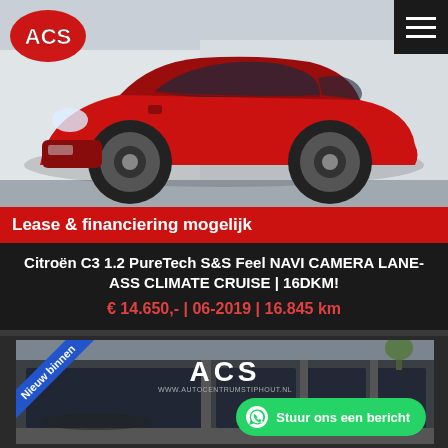[Figure (photo): Red Citroën C3 parked outside a dealership, front three-quarter view. ACS logo in top-left corner, hamburger menu icon in top-right corner. Red banner overlaid at bottom reading 'Lease & financiering mogelijk'.]
Citroën C3 1.2 PureTech S&S Feel NAVI CAMERA LANE-ASS CLIMATE CRUISE | 16DKM!
€ 14.650,- | 06-2019 | 16.845 km
[Figure (photo): ACS (Autocentrum Stiphout) dealership exterior photo. A 'Nieuw binnen' (New in stock) ribbon is shown in the top-left corner. A green WhatsApp button reading 'Stuur ons een bericht' is overlaid at the bottom right.]